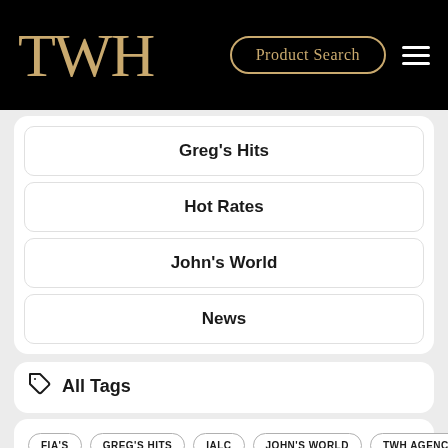TWH | Product Search
Greg's Hits
Hot Rates
John's World
News
All Tags
FIA'S
GREG'S HITS
IALC
JOHN'S WORLD
TWH AGENCY
ANNUITY
BABY BOOMERS
CALCULATOR
ESTATE PLANNING